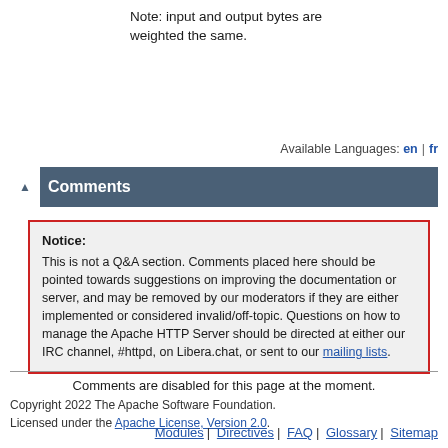Note: input and output bytes are weighted the same.
Available Languages: en | fr
Comments
Notice:
This is not a Q&A section. Comments placed here should be pointed towards suggestions on improving the documentation or server, and may be removed by our moderators if they are either implemented or considered invalid/off-topic. Questions on how to manage the Apache HTTP Server should be directed at either our IRC channel, #httpd, on Libera.chat, or sent to our mailing lists.
Comments are disabled for this page at the moment.
Copyright 2022 The Apache Software Foundation. Licensed under the Apache License, Version 2.0.
Modules | Directives | FAQ | Glossary | Sitemap